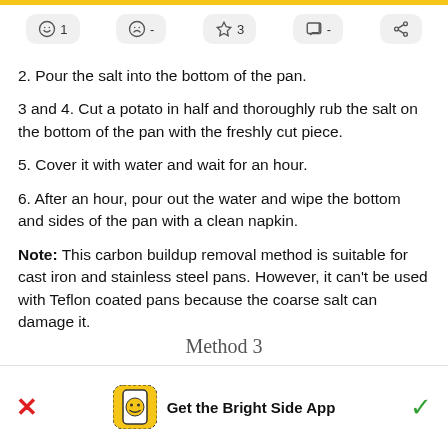icon bar: smile 1, sad -, star 3, comment -, share
2. Pour the salt into the bottom of the pan.
3 and 4. Cut a potato in half and thoroughly rub the salt on the bottom of the pan with the freshly cut piece.
5. Cover it with water and wait for an hour.
6. After an hour, pour out the water and wipe the bottom and sides of the pan with a clean napkin.
Note: This carbon buildup removal method is suitable for cast iron and stainless steel pans. However, it can’t be used with Teflon coated pans because the coarse salt can damage it.
Method 3
Get the Bright Side App